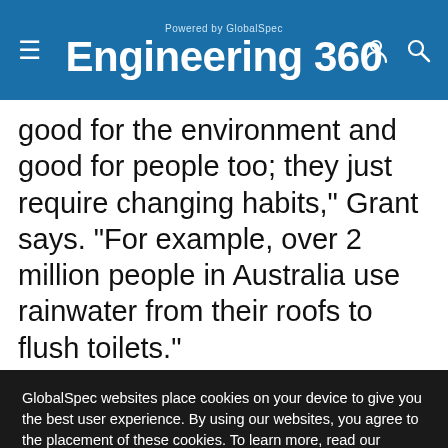Engineering 360 — Powered by GlobalSpec
good for the environment and good for people too; they just require changing habits," Grant says. "For example, over 2 million people in Australia use rainwater from their roofs to flush toilets."
With funding from a National Science
GlobalSpec websites place cookies on your device to give you the best user experience. By using our websites, you agree to the placement of these cookies. To learn more, read our Privacy Policy
Accept & Close